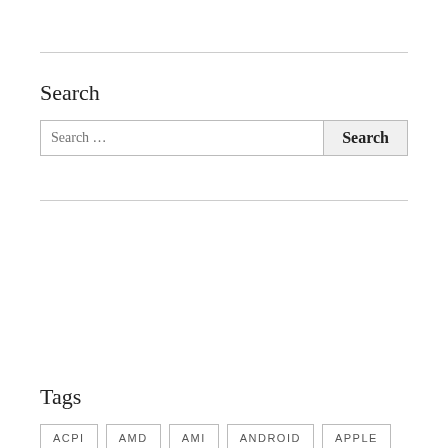Search
Search …
Tags
ACPI
AMD
AMI
ANDROID
APPLE
ARM
ARM LTD
BIOS
CANONICAL
CHIPSEC
COREBOOT
DEBIAN
EDK2
EFI
EVENT
FREEBSD
FWTS
GOOGLE
HP
IBM
INTEL